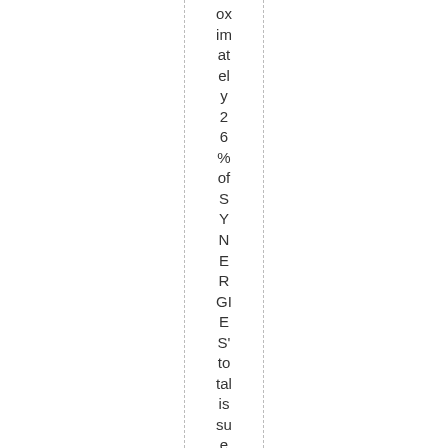ox im at el y 2 6 % of S Y N E R GI E S' to tal is su e d e q uit y by D ec